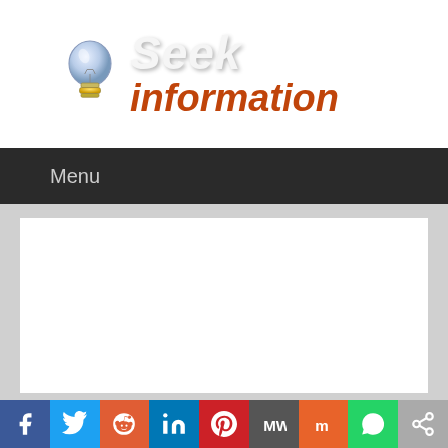[Figure (logo): Seek Information website logo: a light bulb icon on the left, with 'Seek' in white italic bold text and 'information' in orange italic bold text on the right]
Menu
[Figure (other): White content/advertisement area on gray background]
[Figure (infographic): Social sharing bar with icons: Facebook (blue), Twitter (light blue), Reddit (orange-red), LinkedIn (dark blue), Pinterest (red), MeWe (dark gray), Mix (orange), WhatsApp (green), Share (gray)]